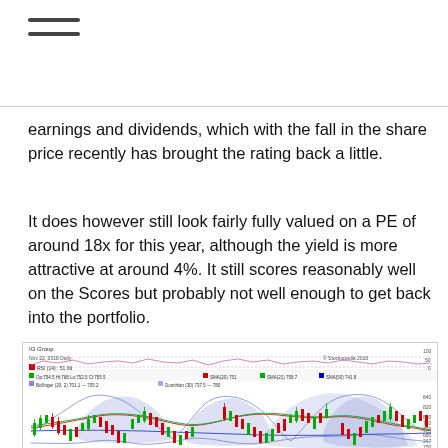≡ (menu icon)
earnings and dividends, which with the fall in the share price recently has brought the rating back a little.
It does however still look fairly fully valued on a PE of around 18x for this year, although the yield is more attractive at around 4%. It still scores reasonably well on the Scores but probably not well enough to get back into the portfolio.
[Figure (continuous-plot): IG Group daily stock chart showing candlestick price data with Bollinger Bands (shaded blue), multiple SMAs (20, 50 day moving averages in red, green, blue), and RSI indicator panel at top. Date: Nov 22, 2018. RSI(14): 51.06. Price range approximately 247-900.]